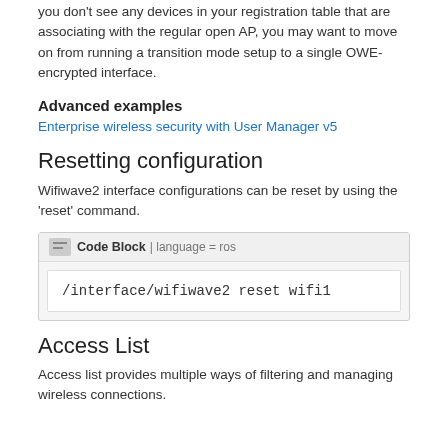you don't see any devices in your registration table that are associating with the regular open AP, you may want to move on from running a transition mode setup to a single OWE-encrypted interface.
Advanced examples
Enterprise wireless security with User Manager v5
Resetting configuration
Wifiwave2 interface configurations can be reset by using the 'reset' command.
[Figure (screenshot): Code Block with language = ros showing: /interface/wifiwave2 reset wifi1]
Access List
Access list provides multiple ways of filtering and managing wireless connections.